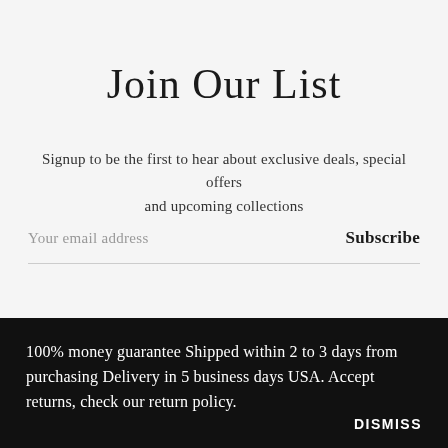Join Our List
Signup to be the first to hear about exclusive deals, special offers and upcoming collections
Your email address
Subscribe
100% money guarantee Shipped within 2 to 3 days from purchasing Delivery in 5 business days USA. Accept returns, check our return policy.
DISMISS